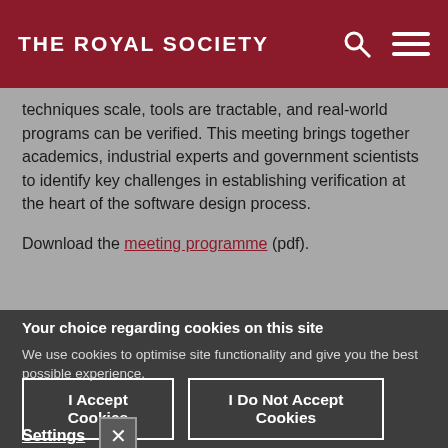THE ROYAL SOCIETY
techniques scale, tools are tractable, and real-world programs can be verified. This meeting brings together academics, industrial experts and government scientists to identify key challenges in establishing verification at the heart of the software design process.
Download the meeting programme (pdf).
Your choice regarding cookies on this site
We use cookies to optimise site functionality and give you the best possible experience.
I Accept Cookies
I Do Not Accept Cookies
Settings